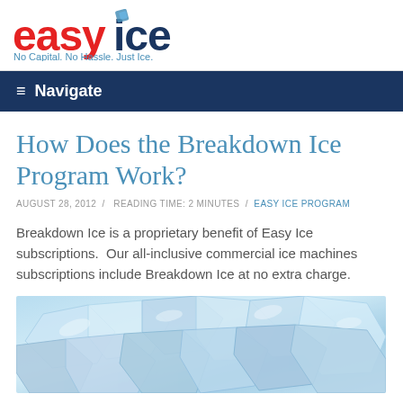[Figure (logo): Easy Ice logo with red 'easy' text and blue 'ice' text, with ice cube icon above. Tagline: 'No Capital. No Hassle. Just Ice.']
≡  Navigate
How Does the Breakdown Ice Program Work?
AUGUST 28, 2012  /  READING TIME: 2 MINUTES  /  EASY ICE PROGRAM
Breakdown Ice is a proprietary benefit of Easy Ice subscriptions.  Our all-inclusive commercial ice machines subscriptions include Breakdown Ice at no extra charge.
[Figure (photo): Close-up photo of clear blue ice cubes piled together]